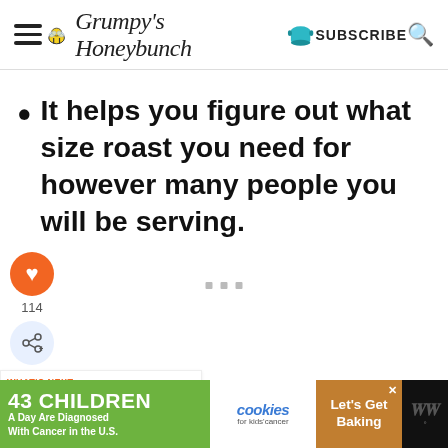Grumpy's Honeybunch — SUBSCRIBE
It helps you figure out what size roast you need for however many people you will be serving.
[Figure (screenshot): Three grey square dots (pagination or loading indicator)]
[Figure (infographic): Social sidebar with orange heart button showing 114 likes and a share button]
[Figure (infographic): What's Next card: Baked Red Snapper... with food thumbnail]
[Figure (screenshot): Advertisement banner: 43 Children A Day Are Diagnosed With Cancer in the U.S. — cookies for kids cancer — Let's Get Baking]